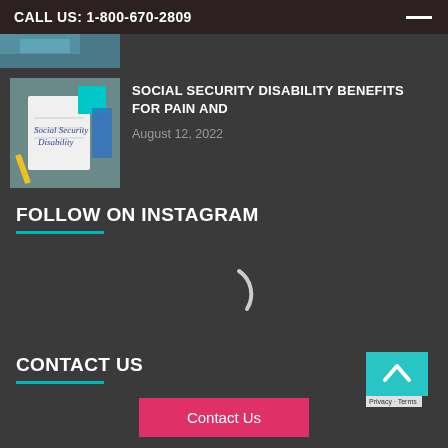CALL US: 1-800-670-2809
[Figure (photo): Partial view of a photo strip at the top of the page, partially cropped]
[Figure (photo): Thumbnail image of a notebook with 'Social Security Disability' handwritten on it, with colorful sticky notes and supplies in background]
SOCIAL SECURITY DISABILITY BENEFITS FOR PAIN AND
August 12, 2022
FOLLOW ON INSTAGRAM
[Figure (other): Loading spinner arc symbol indicating Instagram feed is loading]
CONTACT US
Contact Us